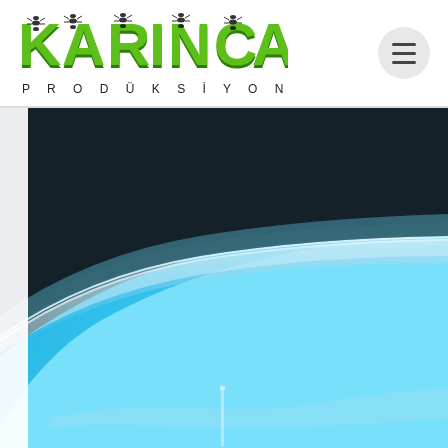KARINCA PRODÜKSIYON
[Figure (photo): Large curved image of Earth from space showing the blue atmosphere and cyan ocean surface with a horizon line, partially cropped, viewed from orbit. A thin vertical element (possibly a rocket or structure) is visible near the bottom center.]